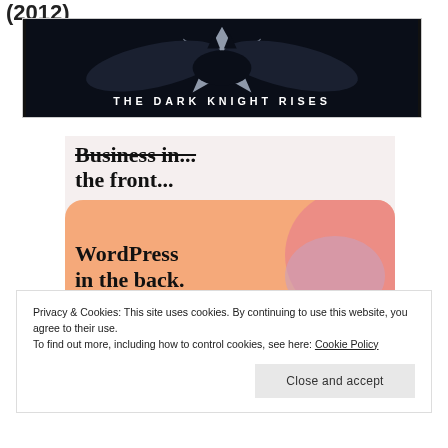(2012)
[Figure (photo): The Dark Knight Rises movie banner — dark cinematic image with batman logo silhouette and text 'THE DARK KNIGHT RISES' in white spaced letters on dark background]
[Figure (screenshot): WordPress promotional graphic reading 'Business in the front... WordPress in the back.' on a light pink background with orange and pink blobs]
Privacy & Cookies: This site uses cookies. By continuing to use this website, you agree to their use.
To find out more, including how to control cookies, see here: Cookie Policy
Close and accept